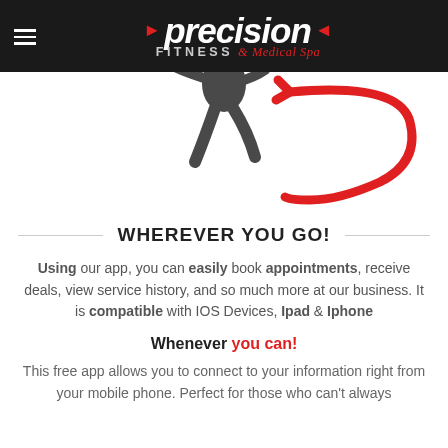Precision FITNESS & Medical Spa
[Figure (illustration): Partial view of a fitness figure/person with a bold red curved arrow overlaid on a white background, pointing downward to the right.]
WHEREVER YOU GO!
Using our app, you can easily book appointments, receive deals, view service history, and so much more at our business. It is compatible with IOS Devices, Ipad & Iphone
Whenever you can!
This free app allows you to connect to your information right from your mobile phone. Perfect for those who can't always